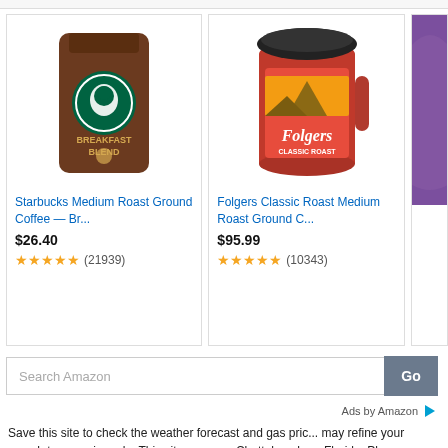[Figure (screenshot): Top strip of a product card (cut off at top)]
[Figure (photo): Starbucks Breakfast Blend coffee bag product image]
Starbucks Medium Roast Ground Coffee — Br...
$26.40
★★★★★ (21939)
[Figure (photo): Folgers Classic Roast red can product image]
Folgers Classic Roast Medium Roast Ground C...
$95.99
★★★★★ (10343)
[Figure (photo): Partial purple bag/purse product image at right edge]
[Figure (screenshot): Search Amazon input box with Go button]
Ads by Amazon ▷
Save this site to check the weather forecast and gas pric... may refine your search to your zip code. This site suppor... Chattahoochee, Florida. Please support the local advertis...
We would like you to become a gas price spotter in Chat...